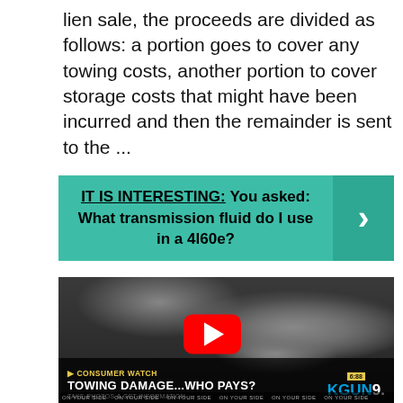lien sale, the proceeds are divided as follows: a portion goes to cover any towing costs, another portion to cover storage costs that might have been incurred and then the remainder is sent to the ...
[Figure (infographic): Teal banner reading 'IT IS INTERESTING: You asked: What transmission fluid do I use in a 4l60e?' with a right-arrow chevron on the right side]
[Figure (screenshot): Video thumbnail showing a close-up of mechanical/engine parts (dark metallic background) with a YouTube play button overlay. Lower bar shows 'CONSUMER WATCH - TOWING DAMAGE...WHO PAYS? TAKE PHOTOS & GET INFORMATION' with KGUN9 logo.]